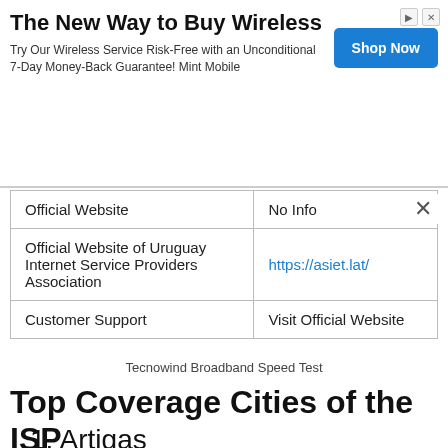[Figure (other): Advertisement banner: 'The New Way to Buy Wireless' with subtitle 'Try Our Wireless Service Risk-Free with an Unconditional 7-Day Money-Back Guarantee! Mint Mobile' and a blue 'Shop Now' button]
| Official Website | No Info |
| --- | --- |
| Official Website of Uruguay Internet Service Providers Association | https://asiet.lat/ |
| Customer Support | Visit Official Website |
Tecnowind Broadband Speed Test
Top Coverage Cities of the ISP
1. Artigas